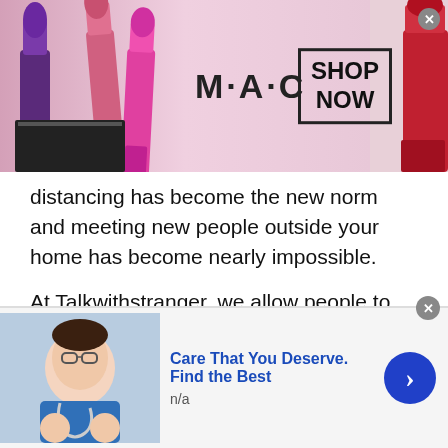[Figure (photo): MAC cosmetics advertisement banner with colorful lipsticks on left, MAC logo in center, SHOP NOW button in a box on right, and a red lipstick partially visible on far right. Close (x) button in top-right corner.]
distancing has become the new norm and meeting new people outside your home has become nearly impossible.
At Talkwithstranger, we allow people to use our platform and make new friends. Our private chat rooms allow you to meet outstanding individuals from all parts of the world which Swiss Text & Call much easier.
Share Knowledge
Since you meet new people from any random part of the world, it gives you a chance to expand your horizons and
[Figure (photo): Bottom advertisement with a doctor/medical professional image on left, 'Care That You Deserve. Find the Best' title in blue, 'n/a' subtitle, blue arrow button on right, and close (x) button.]